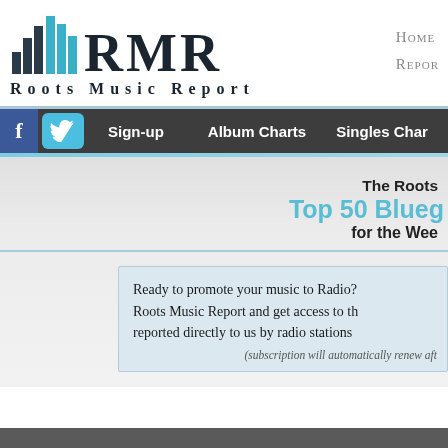[Figure (logo): Roots Music Report (RMR) logo with teal/dark bar chart icon and large serif RMR text]
Home
Reports
Sign-up   Album Charts   Singles Charts
The Roots Music Report
Top 50 Bluegrass
for the Week
Ready to promote your music to Radio? Roots Music Report and get access to th reported directly to us by radio stations (subscription will automatically renew aft